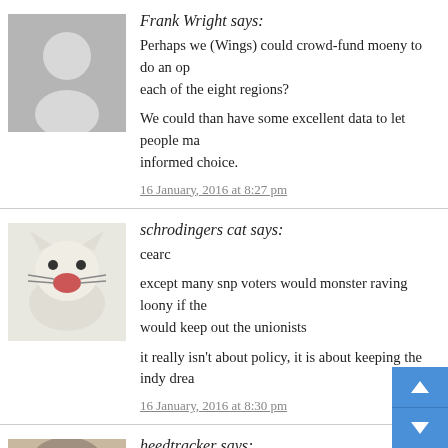[Figure (photo): Generic grey placeholder user avatar silhouette]
Frank Wright says:
Perhaps we (Wings) could crowd-fund moeny to do an op... each of the eight regions?
We could than have some excellent data to let people ma... informed choice.
16 January, 2016 at 8:27 pm
[Figure (photo): Photo of a white cat with open mouth, yawning or hissing]
schrodingers cat says:
cearc
except many snp voters would monster raving loony if the... would keep out the unionists
it really isn't about policy, it is about keeping the indy drea...
16 January, 2016 at 8:30 pm
[Figure (photo): Close-up photo of a raccoon or similar animal face]
heedtracker says:
And BTW we are not all right wing oil workers up here. Th... slur just shows how out of touch you are.
There's no WoS slur Muscleguy, RISE are totally... north east, the Greens here are very unionist, esp...